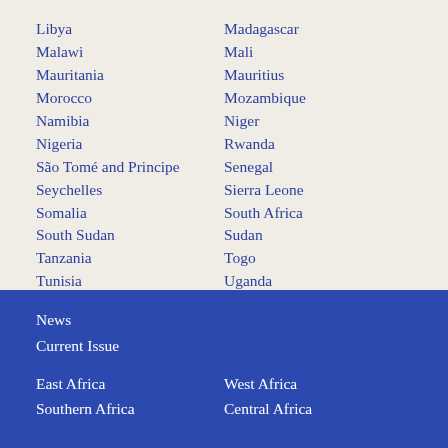Libya
Madagascar
Malawi
Mali
Mauritania
Mauritius
Morocco
Mozambique
Namibia
Niger
Nigeria
Rwanda
São Tomé and Principe
Senegal
Seychelles
Sierra Leone
Somalia
South Africa
South Sudan
Sudan
Tanzania
Togo
Tunisia
Uganda
Western Sahara
Zambia
Zimbabwe
News
Current Issue
East Africa
West Africa
Southern Africa
Central Africa